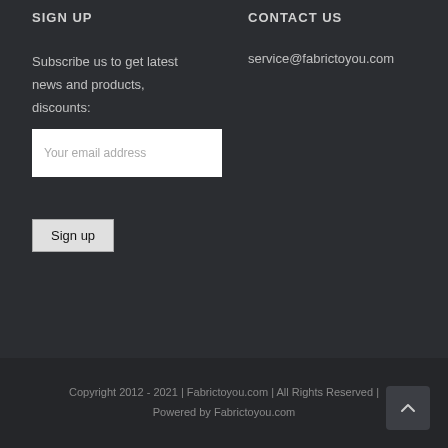SIGN UP
CONTACT US
Subscribe us to get latest news and products, discounts:
Your email address
Sign up
service@fabrictoyou.com
Copyright 2012 - 2021 | Fabrictoyou.com | All Rights Reserved | Powered by Fabrictoyou.com